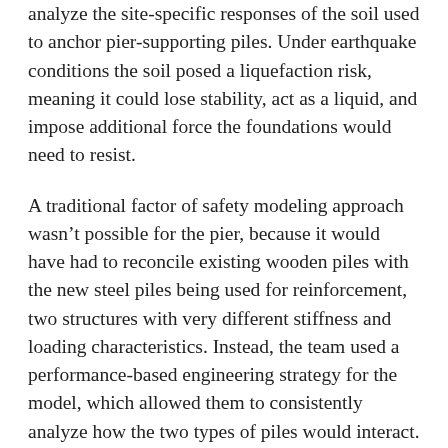analyze the site-specific responses of the soil used to anchor pier-supporting piles. Under earthquake conditions the soil posed a liquefaction risk, meaning it could lose stability, act as a liquid, and impose additional force the foundations would need to resist.
A traditional factor of safety modeling approach wasn't possible for the pier, because it would have had to reconcile existing wooden piles with the new steel piles being used for reinforcement, two structures with very different stiffness and loading characteristics. Instead, the team used a performance-based engineering strategy for the model, which allowed them to consistently analyze how the two types of piles would interact. GeoEngineers then introduced various types of earthquakes into the model to simulate the soil/pile interaction in each case.
The team also understood that a new seawall, built just feet away from Ivar's, would affect how the pier would behave in earthquake conditions. By taking a broader look and